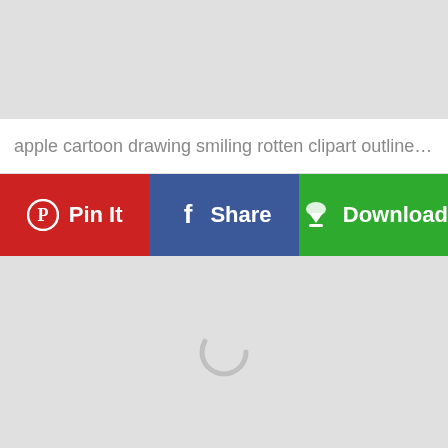[Figure (other): Gray placeholder image area at the top of the page]
apple cartoon drawing smiling rotten clipart outlined ch...
[Figure (infographic): Three social sharing buttons: Pin It (red, Pinterest), Share (blue, Facebook), Download (green)]
[Figure (other): Gray image area with a loading spinner circle in the center]